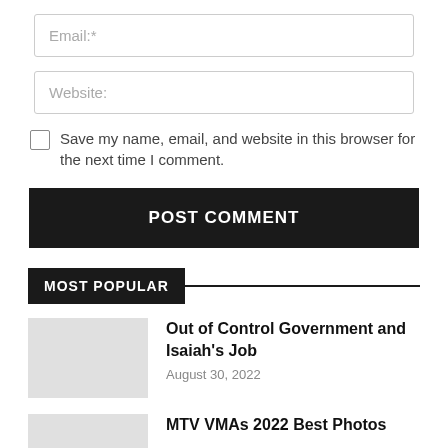Email:*
Website:
Save my name, email, and website in this browser for the next time I comment.
POST COMMENT
MOST POPULAR
Out of Control Government and Isaiah's Job
August 30, 2022
MTV VMAs 2022 Best Photos